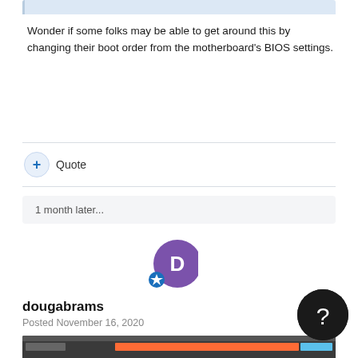[Figure (screenshot): Partial cropped blue-tinted quote block at the top of the page]
Wonder if some folks may be able to get around this by changing their boot order from the motherboard's BIOS settings.
Quote
1 month later...
[Figure (illustration): User avatar circle with letter D in purple, with a blue badge icon]
dougabrams
Posted November 16, 2020
My Helix Native continues to crash.  I have deleted the files and reinistalled but the same error message continues to happen.
[Figure (screenshot): Partial screenshot of a digital audio workstation (DAW) software at the bottom of the page, partially cropped]